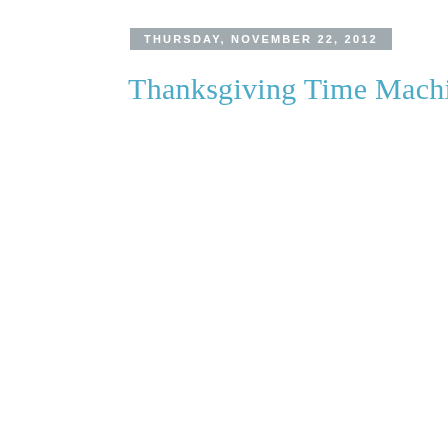THURSDAY, NOVEMBER 22, 2012
Thanksgiving Time Machine & Recip
[Figure (photo): A baby in a light blue and teal striped outfit being held up by an adult's hands in a doorway, with another child visible below looking up at the baby.]